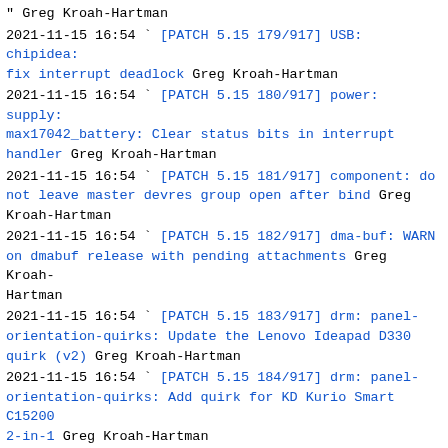" Greg Kroah-Hartman
2021-11-15 16:54 ` [PATCH 5.15 179/917] USB: chipidea: fix interrupt deadlock Greg Kroah-Hartman
2021-11-15 16:54 ` [PATCH 5.15 180/917] power: supply: max17042_battery: Clear status bits in interrupt handler Greg Kroah-Hartman
2021-11-15 16:54 ` [PATCH 5.15 181/917] component: do not leave master devres group open after bind Greg Kroah-Hartman
2021-11-15 16:54 ` [PATCH 5.15 182/917] dma-buf: WARN on dmabuf release with pending attachments Greg Kroah-Hartman
2021-11-15 16:54 ` [PATCH 5.15 183/917] drm: panel-orientation-quirks: Update the Lenovo Ideapad D330 quirk (v2) Greg Kroah-Hartman
2021-11-15 16:54 ` [PATCH 5.15 184/917] drm: panel-orientation-quirks: Add quirk for KD Kurio Smart C15200 2-in-1 Greg Kroah-Hartman
2021-11-15 16:54 ` [PATCH 5.15 185/917] drm: panel-orientation-quirks: Add quirk for the Samsung Galaxy Book 10.6 Greg Kroah-Hartman
2021-11-15 16:54 ` [PATCH 5.15 186/917] Bluetooth: sco: Fix lock_sock() blockage by memcpy_from_msg() Greg Kroah-Hartman
2021-11-15 16:54 ` [PATCH 5.15 187/917] Bluetooth: fix use-after-free error in lock_sock_nested() Greg Kroah-Hartman
2021-11-15 16:54 ` [PATCH 5.15 188/917] Bluetooth: call sock_hold earlier in sco_conn_del Greg Kroah-Hartman
2021-11-15 16:54 ` [PATCH 5.15 189/917] drm/panel-